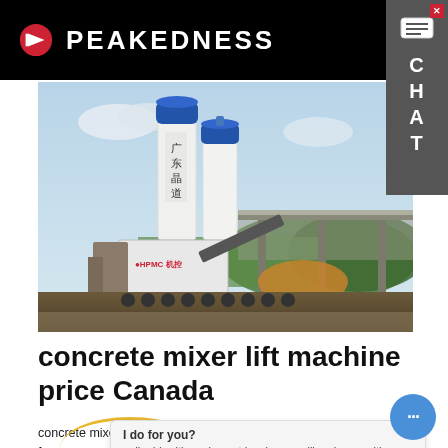PEAKEDNESS
[Figure (photo): Concrete mixing plant with two tall white silos with blue tops, Chinese characters on the silos, industrial equipment and conveyor belts at ground level, overpass bridge in the background, cloudy sky]
concrete mixer lift machine price Canada
concrete mixer lift machine price Canada. Simply complete the form and your email add. with equipment inquiry, we will reply you with detail. h
I do for you?
nail add. with equipment inquiry, we will reply you with detail.